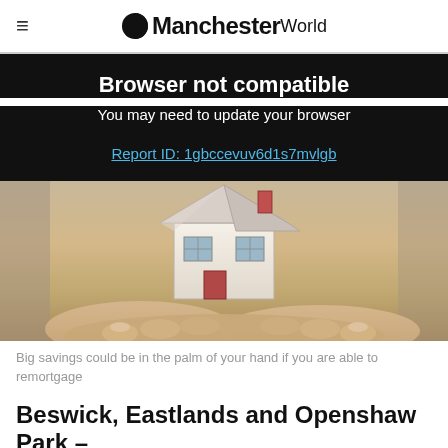ManchesterWorld
Browser not compatible
You may need to update your browser
Report ID: 1gbccevuv6d1s7mvlgb
[Figure (photo): Hands holding a miniature model house — illustrating home savings and remortgaging.]
Big savings could be in the palm of your hand if you are able to remortgage
Beswick, Eastlands and Openshaw Park – £134,250.